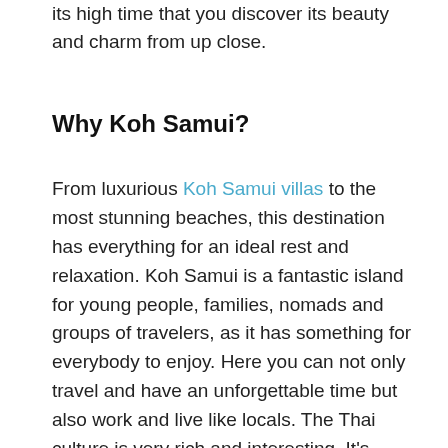its high time that you discover its beauty and charm from up close.
Why Koh Samui?
From luxurious Koh Samui villas to the most stunning beaches, this destination has everything for an ideal rest and relaxation. Koh Samui is a fantastic island for young people, families, nomads and groups of travelers, as it has something for everybody to enjoy. Here you can not only travel and have an unforgettable time but also work and live like locals. The Thai culture is very rich and interesting. It’s perhaps another reason why people love the country and its islands. People are very friendly and cheerful, always ready to help you in